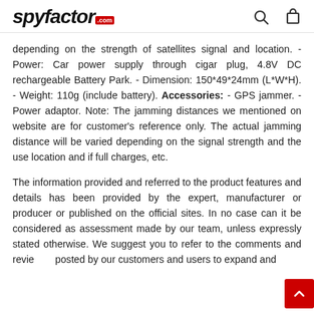spyfactor.com
depending on the strength of satellites signal and location. - Power: Car power supply through cigar plug, 4.8V DC rechargeable Battery Park. - Dimension: 150*49*24mm (L*W*H). - Weight: 110g (include battery). Accessories: - GPS jammer. - Power adaptor. Note: The jamming distances we mentioned on website are for customer's reference only. The actual jamming distance will be varied depending on the signal strength and the use location and if full charges, etc.
The information provided and referred to the product features and details has been provided by the expert, manufacturer or producer or published on the official sites. In no case can it be considered as assessment made by our team, unless expressly stated otherwise. We suggest you to refer to the comments and reviews posted by our customers and users to expand and